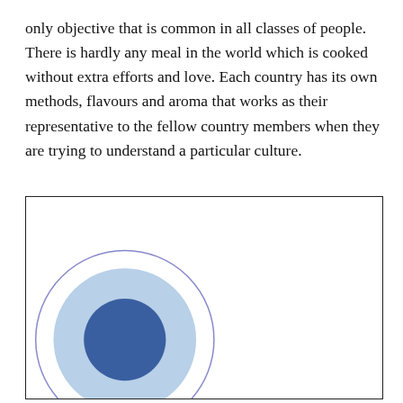only objective that is common in all classes of people. There is hardly any meal in the world which is cooked without extra efforts and love. Each country has its own methods, flavours and aroma that works as their representative to the fellow country members when they are trying to understand a particular culture.
[Figure (illustration): A bordered white box containing a concentric circles illustration in the lower-left area: outer thin blue circle outline, middle light blue filled circle, and inner dark blue filled circle.]